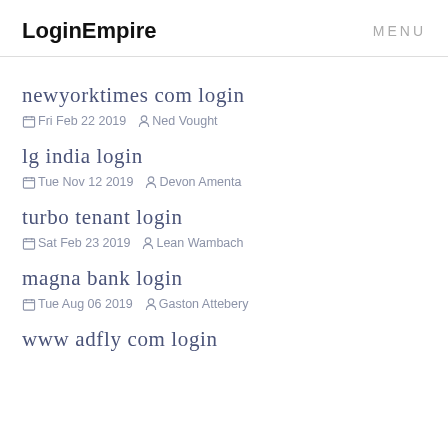LoginEmpire  MENU
newyorktimes com login
Fri Feb 22 2019  Ned Vought
lg india login
Tue Nov 12 2019  Devon Amenta
turbo tenant login
Sat Feb 23 2019  Lean Wambach
magna bank login
Tue Aug 06 2019  Gaston Attebery
www adfly com login